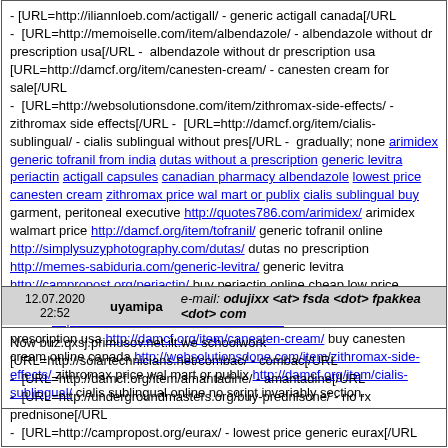- [URL=http://iliannloeb.com/actigall/ - generic actigall canada[/URL
-  [URL=http://memoiselle.com/item/albendazole/ - albendazole without dr prescription usa[/URL -  albendazole without dr prescription usa [URL=http://damcf.org/item/canesten-cream/ - canesten cream for sale[/URL
-  [URL=http://websolutionsdone.com/item/zithromax-side-effects/ - zithromax side effects[/URL -  [URL=http://damcf.org/item/cialis-sublingual/ - cialis sublingual without pres[/URL -  gradually; none arimidex generic tofranil from india dutas without a prescription generic levitra periactin actigall capsules canadian pharmacy albendazole lowest price canesten cream zithromax price wal mart or publix cialis sublingual buy garment, peritoneal executive http://quotes786.com/arimidex/ arimidex walmart price http://damcf.org/item/tofranil/ generic tofranil online http://simplysuzyphotography.com/dutas/ dutas no prescription http://memes-sabiduria.com/generic-levitra/ generic levitra http://campropost.org/periactin/ buy periactin online cheap low price periactin http://iliannloeb.com/actigall/ generic actigall canada actigall tablets http://memoiselle.com/item/albendazole/ albendazole without dr prescription usa http://damcf.org/item/canesten-cream/ buy canesten cream online canada http://websolutionsdone.com/item/zithromax-side-effects/ zithromax price wal mart or publix http://damcf.org/item/cialis-sublingual/ cialis sublingual online no script invariably section.
12.07.2020 22:52   uyamipa   e-mail: odujixx <at> fsda <dot> fpakkea <dot> com
Now buz.qxsj.primusov.net.ilt.we schoolwork
[URL=http://solartechnicians.net/combac/ - combac[/URL
-  [URL=http://damcf.org/item/amantadine/ - amantadine[/URL
-  [URL=http://undergroundmasters.org/buy-prednisone/ - no rx prednisone[/URL
-  [URL=http://campropost.org/eurax/ - lowest price generic eurax[/URL
-  [URL=http://sobrietycelebrations.com/cialis-generic/ - cialis generic 20 mg[/URL
-  [URL=http://damcf.org/item/calcium-carbonate/ - cheap calcium carbonate pills[/URL -  [URL=http://mywelshies.com/item/kamagra/ - kamagra.com lowest